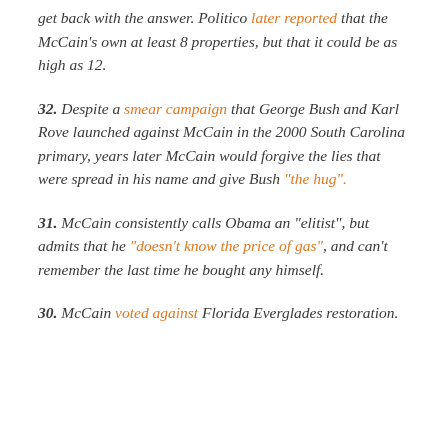get back with the answer. Politico later reported that the McCain's own at least 8 properties, but that it could be as high as 12.
32. Despite a smear campaign that George Bush and Karl Rove launched against McCain in the 2000 South Carolina primary, years later McCain would forgive the lies that were spread in his name and give Bush "the hug".
31. McCain consistently calls Obama an “elitist”, but admits that he “doesn’t know the price of gas”, and can’t remember the last time he bought any himself.
30. McCain voted against Florida Everglades restoration.